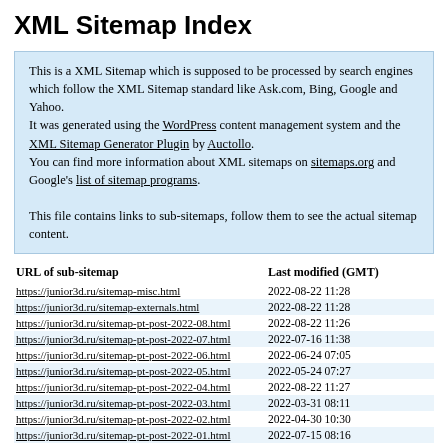XML Sitemap Index
This is a XML Sitemap which is supposed to be processed by search engines which follow the XML Sitemap standard like Ask.com, Bing, Google and Yahoo.
It was generated using the WordPress content management system and the XML Sitemap Generator Plugin by Auctollo.
You can find more information about XML sitemaps on sitemaps.org and Google's list of sitemap programs.

This file contains links to sub-sitemaps, follow them to see the actual sitemap content.
| URL of sub-sitemap | Last modified (GMT) |
| --- | --- |
| https://junior3d.ru/sitemap-misc.html | 2022-08-22 11:28 |
| https://junior3d.ru/sitemap-externals.html | 2022-08-22 11:28 |
| https://junior3d.ru/sitemap-pt-post-2022-08.html | 2022-08-22 11:26 |
| https://junior3d.ru/sitemap-pt-post-2022-07.html | 2022-07-16 11:38 |
| https://junior3d.ru/sitemap-pt-post-2022-06.html | 2022-06-24 07:05 |
| https://junior3d.ru/sitemap-pt-post-2022-05.html | 2022-05-24 07:27 |
| https://junior3d.ru/sitemap-pt-post-2022-04.html | 2022-08-22 11:27 |
| https://junior3d.ru/sitemap-pt-post-2022-03.html | 2022-03-31 08:11 |
| https://junior3d.ru/sitemap-pt-post-2022-02.html | 2022-04-30 10:30 |
| https://junior3d.ru/sitemap-pt-post-2022-01.html | 2022-07-15 08:16 |